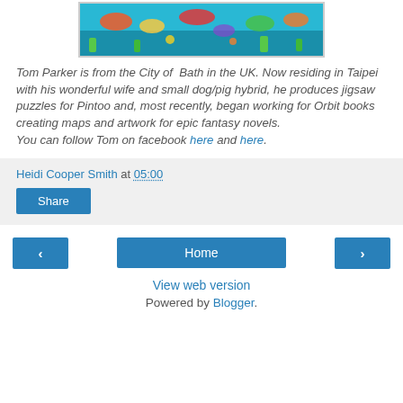[Figure (illustration): Colorful underwater scene illustration used as a jigsaw puzzle image, showing fish, sea creatures, and ocean scenery in bright blues, greens, reds, and yellows.]
Tom Parker is from the City of Bath in the UK. Now residing in Taipei with his wonderful wife and small dog/pig hybrid, he produces jigsaw puzzles for Pintoo and, most recently, began working for Orbit books creating maps and artwork for epic fantasy novels.
You can follow Tom on facebook here and here.
Heidi Cooper Smith at 05:00
Share
Home
View web version
Powered by Blogger.